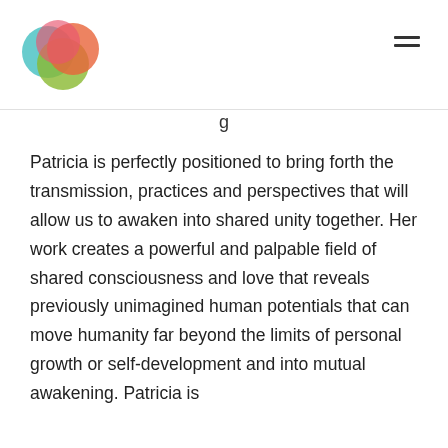g
Patricia is perfectly positioned to bring forth the transmission, practices and perspectives that will allow us to awaken into shared unity together. Her work creates a powerful and palpable field of shared consciousness and love that reveals previously unimagined human potentials that can move humanity far beyond the limits of personal growth or self-development and into mutual awakening. Patricia is